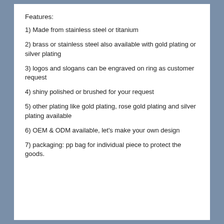Features:
1) Made from stainless steel or titanium
2) brass or stainless steel also available with gold plating or silver plating
3) logos and slogans can be engraved on ring as customer request
4) shiny polished or brushed for your request
5) other plating like gold plating, rose gold plating and silver plating available
6) OEM & ODM available, let's make your own design
7) packaging: pp bag for individual piece to protect the goods.